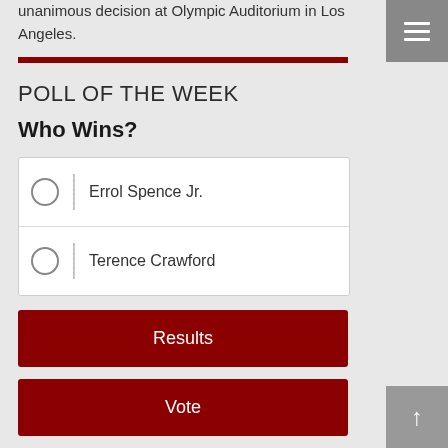unanimous decision at Olympic Auditorium in Los Angeles.
POLL OF THE WEEK
Who Wins?
Errol Spence Jr.
Terence Crawford
Results
Vote